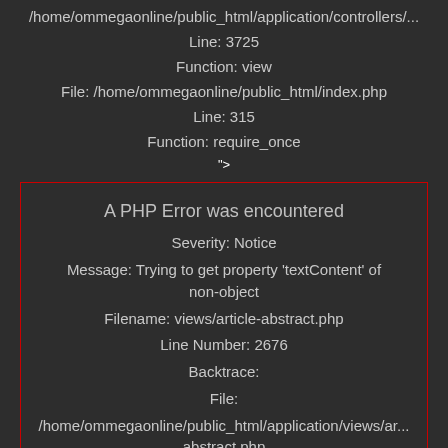/home/ommegaonline/public_html/application/controllers/...
Line: 3725
Function: view
File: /home/ommegaonline/public_html/index.php
Line: 315
Function: require_once
">
A PHP Error was encountered
Severity: Notice
Message: Trying to get property 'textContent' of non-object
Filename: views/article-abstract.php
Line Number: 2676
Backtrace:
File:
/home/ommegaonline/public_html/application/views/ar... abstract.php
Line: 2676
Function: _error_handler
File